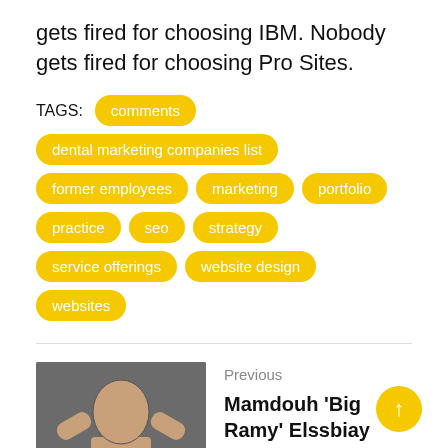gets fired for choosing IBM. Nobody gets fired for choosing Pro Sites.
TAGS: comments  dental marketing companies list  former employees  marketing  portfolio  practice  seo  strategy  service offerings  website design  websites
[Figure (photo): Thumbnail image of Mamdouh 'Big Ramy' Elssbiay flexing, used as article thumbnail for previous post]
Previous
Mamdouh 'Big Ramy' Elssbiay Wins Mr. Olympia 2021
Next
[Figure (photo): Thumbnail image for the next article]